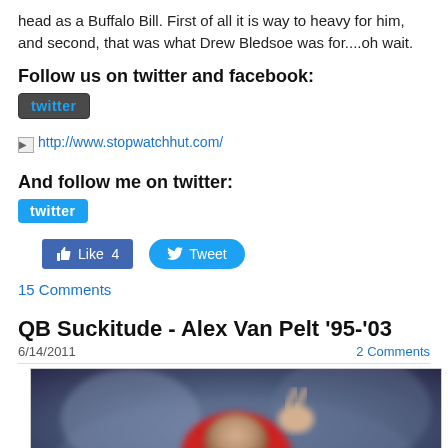head as a Buffalo Bill. First of all it is way to heavy for him, and second, that was what Drew Bledsoe was for....oh wait.
Follow us on twitter and facebook:
[Figure (logo): Twitter button logo in dark gray rounded rectangle with cyan twitter text]
[Figure (screenshot): Broken image icon followed by http://www.stopwatchhut.com/ link]
And follow me on twitter:
[Figure (logo): Twitter button in blue rounded rectangle with white twitter text]
[Figure (infographic): Facebook Like button showing Like 4 and Twitter Tweet button]
15 Comments
QB Suckitude - Alex Van Pelt '95-'03
6/14/2011
2 Comments
[Figure (photo): Blurred photo of a Buffalo Bills football player making a peace sign gesture with their hand, wearing a red helmet]